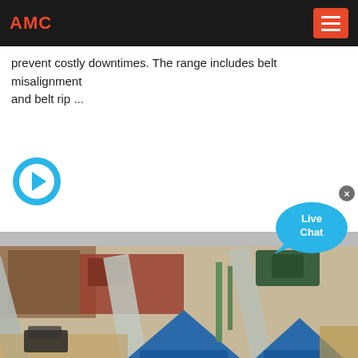AMC
prevent costly downtimes. The range includes belt misalignment and belt rip ...
[Figure (illustration): Blue circular arrow icon indicating a link or navigation]
[Figure (illustration): Live Chat speech bubble widget with close button in top right]
[Figure (photo): Aerial/elevated view of industrial mining or quarry equipment including blue cone crushers and conveyor belts with industrial buildings in background]